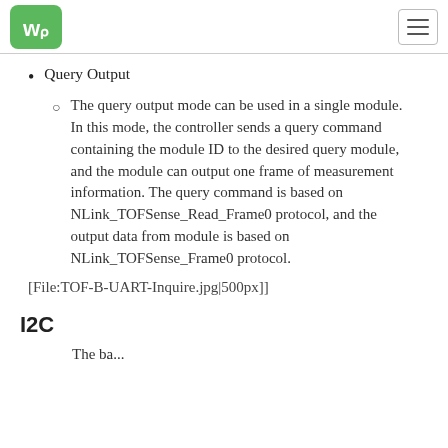WS logo and navigation menu
Query Output⁠
The query output mode can be used in a single module. In this mode, the controller sends a query command containing the module ID to the desired query module, and the module can output one frame of measurement information. The query command is based on NLink_TOFSense_Read_Frame0 protocol, and the output data from module is based on NLink_TOFSense_Frame0 protocol.
[File:TOF-B-UART-Inquire.jpg|500px]]
I2C
The ba...